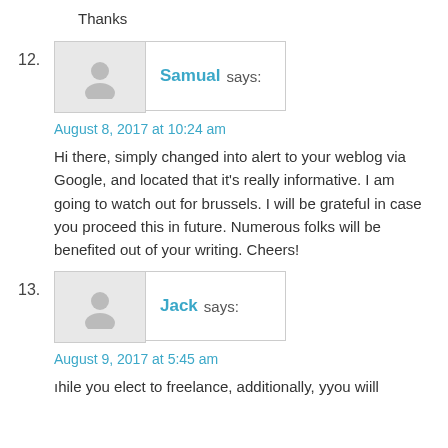Thanks
12. Samual says:
August 8, 2017 at 10:24 am
Hi there, simply changed into alert to your weblog via Google, and located that it’s really informative. I am going to watch out for brussels. I will be grateful in case you proceed this in future. Numerous folks will be benefited out of your writing. Cheers!
13. Jack says:
August 9, 2017 at 5:45 am
ıhile you elect to freelance, additionally, yyou wiill